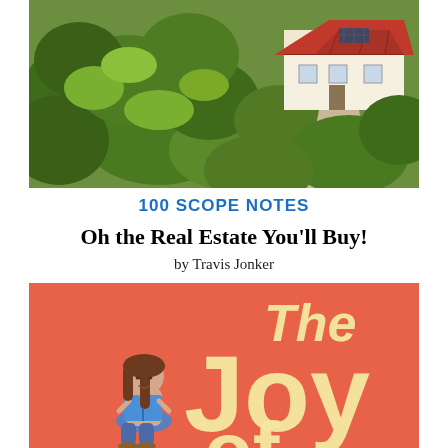[Figure (photo): Aerial view of a house with a red tile roof surrounded by dense green trees and vegetation, photographed from above.]
100 SCOPE NOTES
Oh the Real Estate You'll Buy!
by Travis Jonker
[Figure (photo): Book cover image with orange-red background showing large cream/yellow text reading 'The Joy of' and a cartoon illustration of a girl with brown hair sitting and reading a blue book.]